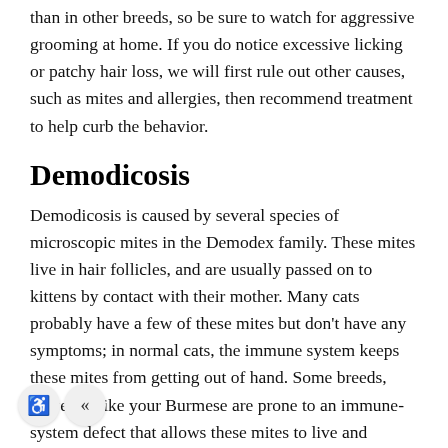than in other breeds, so be sure to watch for aggressive grooming at home. If you do notice excessive licking or patchy hair loss, we will first rule out other causes, such as mites and allergies, then recommend treatment to help curb the behavior.
Demodicosis
Demodicosis is caused by several species of microscopic mites in the Demodex family. These mites live in hair follicles, and are usually passed on to kittens by contact with their mother. Many cats probably have a few of these mites but don't have any symptoms; in normal cats, the immune system keeps these mites from getting out of hand. Some breeds, however, like your Burmese are prone to an immune-system defect that allows these mites to live and